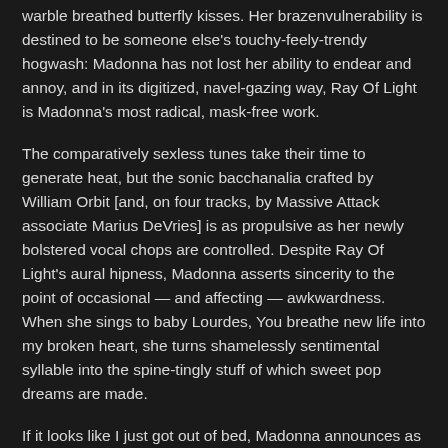warble breathed butterfly kisses. Her brazenvulnerability is destined to be someone else's touchy-feely-trendy hogwash: Madonna has not lost her ability to endear and annoy, and in its digitized, navel-gazing way, Ray Of Light is Madonna's most radical, mask-free work.
The comparatively sexless tunes take their time to generate heat, but the sonic bacchanalia crafted by William Orbit [and, on four tracks, by Massive Attack associate Marius DeVries] is as propulsive as her newly bolstered vocal chops are controlled. Despite Ray Of Light's aural hipness, Madonna asserts sincerity to the point of occasional — and affecting — awkwardness. When she sings to baby Lourdes, You breathe new life into my broken heart, she turns shamelessly sentimental syllable into the spine-tingly stuff of which sweet pop dreams are made.
If it looks like I just got out of bed, Madonna announces as she arrives at her neighborhood coffee shop without a bodyguard, assistant, or publicist, I did. She's dressed in a nondescript black knit shirt, black pants, and chipped black nail polish. Brown roots inches long lead to a tangled mess of brassy blond. At the end of the interview, Madonna politely refuses the reporter's request for a snap-shot. Maybe next time when I don't look like and old sea-hag, she suggests. Throughout the interview, she remains candid, but rarely does the club queen who would